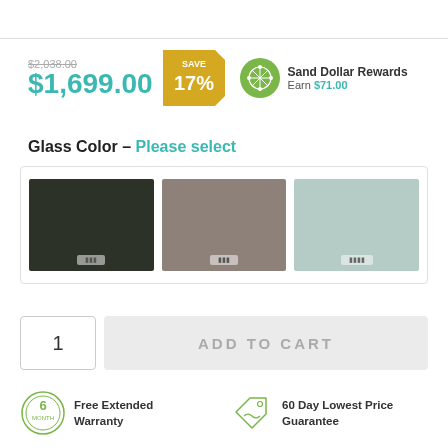List Price $2,038.00  SAVE 17%  $1,699.00  Sand Dollar Rewards  Earn $71.00
Glass Color - Please select
[Figure (other): Three glass color swatches: black/dark green, taupe/gray, and mint/sage green, shown in a bordered box]
1  ADD TO CART
Free Extended Warranty
60 Day Lowest Price Guarantee